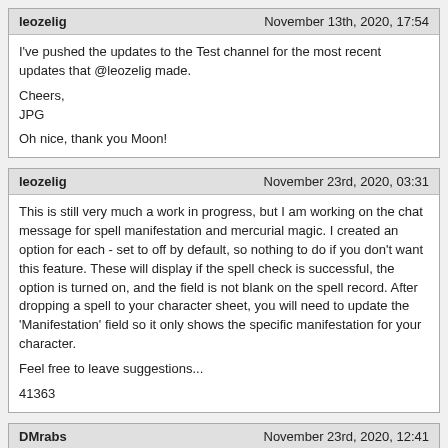leozelig | November 13th, 2020, 17:54
I've pushed the updates to the Test channel for the most recent updates that @leozelig made.

Cheers,
JPG

Oh nice, thank you Moon!
leozelig | November 23rd, 2020, 03:31
This is still very much a work in progress, but I am working on the chat message for spell manifestation and mercurial magic. I created an option for each - set to off by default, so nothing to do if you don't want this feature. These will display if the spell check is successful, the option is turned on, and the field is not blank on the spell record. After dropping a spell to your character sheet, you will need to update the 'Manifestation' field so it only shows the specific manifestation for your character.

Feel free to leave suggestions...

41363
DMrabs | November 23rd, 2020, 12:41
Awesome! Thanks for the updates. Players will love this for sure!

Cheers
R
leozelig | November 26th, 2020, 14:54